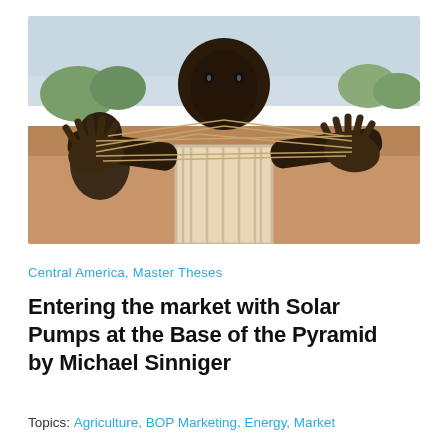[Figure (photo): A young African boy holding a string cat's cradle pattern between his hands in front of his face, with another child visible in the background, set in a rural outdoor environment with red soil and greenery.]
Central America, Master Theses
Entering the market with Solar Pumps at the Base of the Pyramid by Michael Sinniger
Topics: Agriculture, BOP Marketing, Energy, Market